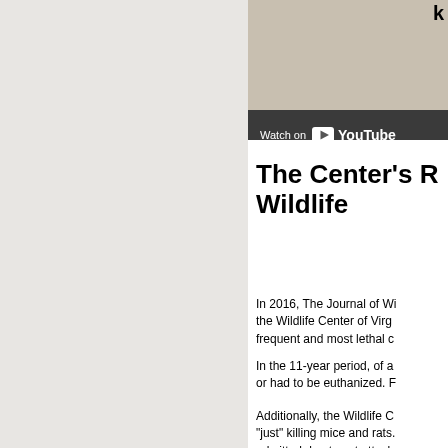[Figure (screenshot): YouTube video embed thumbnail with beige/stone texture background and 'Watch on YouTube' bar at bottom]
The Center's R Wildlife
In 2016, The Journal of Wi the Wildlife Center of Virg frequent and most lethal c
In the 11-year period, of a or had to be euthanized. F
Additionally, the Wildlife C "just" killing mice and rats. admitted due to cat attack